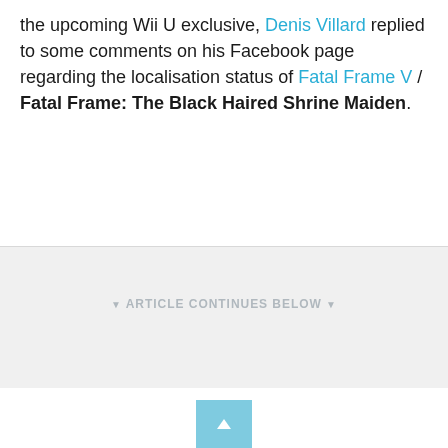the upcoming Wii U exclusive, Denis Villard replied to some comments on his Facebook page regarding the localisation status of Fatal Frame V / Fatal Frame: The Black Haired Shrine Maiden.
▼ ARTICLE CONTINUES BELOW ▼